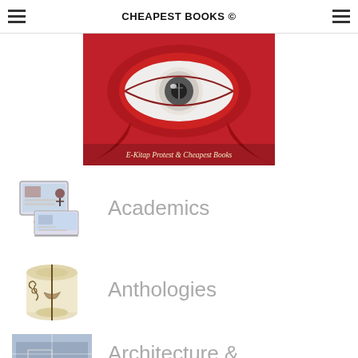CHEAPEST BOOKS ©
[Figure (illustration): Book cover with a dramatic red eye illustration. Text reads 'E-Kitap Protest & Cheapest Books']
[Figure (illustration): Academics category icon showing a computer monitor and laptop displaying educational content]
Academics
[Figure (illustration): Anthologies category icon showing a rolled decorative scroll with ornamental patterns]
Anthologies
[Figure (illustration): Architecture category icon showing blueprint-style architectural image]
Architecture &